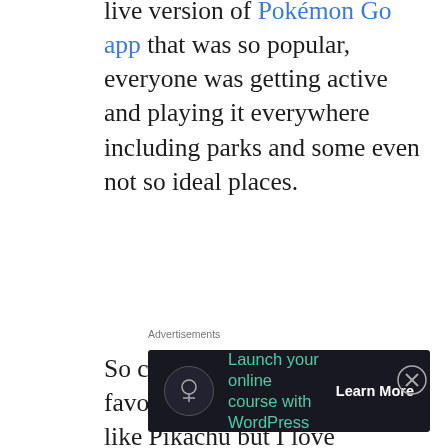live version of Pokémon Go app that was so popular, everyone was getting active and playing it everywhere including parks and some even not so ideal places.
So curious, what is your favorite Pokémon character?  I like Pikachu but I love Charmander.  I also like Mewtwo.  I know he's a bad guy but he's got some brains and some bad-ass power.
For the last couple of years I have
Advertisements
[Figure (other): Advertisement banner: dark background with circular icon, green text 'Launch your online course with WordPress' and white 'Learn More' button]